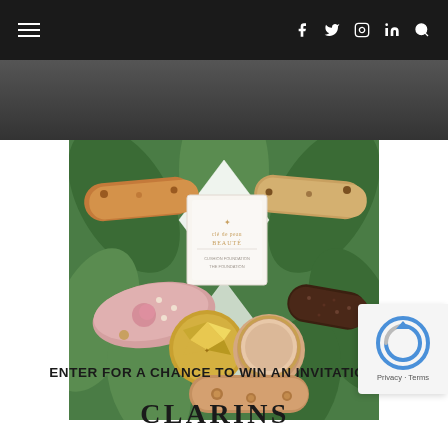Navigation bar with hamburger menu, social icons (Facebook, Twitter, Instagram, LinkedIn), and search
[Figure (photo): Partial dark background photo at top of page showing people in the background]
[Figure (photo): Overhead flat-lay photo of Clé de Peau Beauté makeup products arranged with eclairs/pastries on a green tropical leaf patterned background. Products include a foundation compact, concealer, and other cosmetics alongside chocolate and dessert eclairs.]
ENTER FOR A CHANCE TO WIN AN INVITATION!
CLARINS